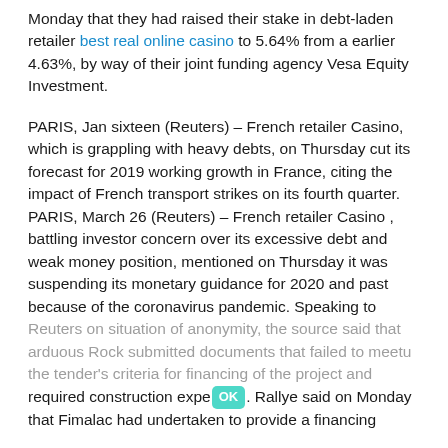Monday that they had raised their stake in debt-laden retailer best real online casino to 5.64% from a earlier 4.63%, by way of their joint funding agency Vesa Equity Investment.
PARIS, Jan sixteen (Reuters) – French retailer Casino, which is grappling with heavy debts, on Thursday cut its forecast for 2019 working growth in France, citing the impact of French transport strikes on its fourth quarter. PARIS, March 26 (Reuters) – French retailer Casino , battling investor concern over its excessive debt and weak money position, mentioned on Thursday it was suspending its monetary guidance for 2020 and past because of the coronavirus pandemic. Speaking to Reuters on situation of anonymity, the source said that arduous Rock submitted documents that failed to meet the tender's criteria for financing of the project and required construction experience. Rallye said on Monday that Fimalac had undertaken to provide a financing